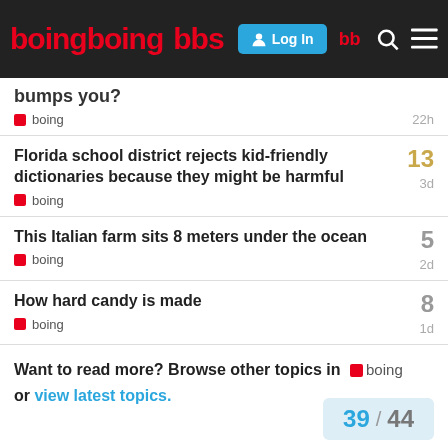boingboing bbs — Log In
bumps you?  boing  22h
Florida school district rejects kid-friendly dictionaries because they might be harmful — boing — 13 — 3d
This Italian farm sits 8 meters under the ocean — boing — 5 — 2d
How hard candy is made — boing — 8 — 1d
Want to read more? Browse other topics in boing or view latest topics.
39 / 44